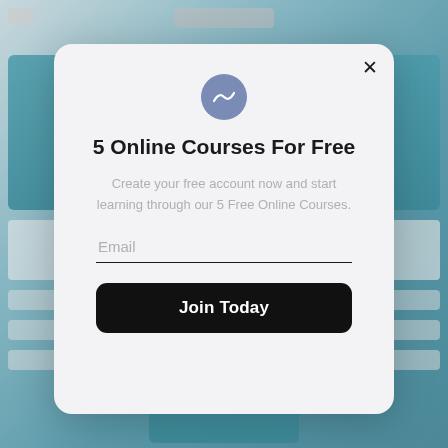[Figure (screenshot): Blurred background showing a website with teal/blue course cards]
5 Online Courses For Free
Create your free account now and start learning through our 5 Free Online Courses.
Email
Join Today